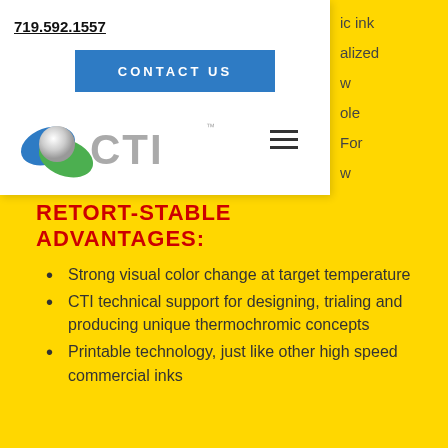719.592.1557
CONTACT US
[Figure (logo): CTI company logo with blue and green spherical icon and gray CTI text]
RETORT-STABLE ADVANTAGES:
Strong visual color change at target temperature
CTI technical support for designing, trialing and producing unique thermochromic concepts
Printable technology, just like other high speed commercial inks